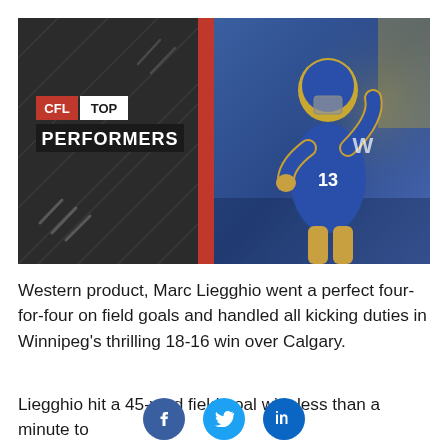[Figure (photo): CFL Top Performers graphic on left (dark background with CFL red badge and 'TOP PERFORMERS' text) combined with photo of a Winnipeg Blue Bombers football player in blue uniform #13 celebrating on the right]
Western product, Marc Liegghio went a perfect four-for-four on field goals and handled all kicking duties in Winnipeg's thrilling 18-16 win over Calgary.
Liegghio hit a 45-yard field goal with less than a minute to